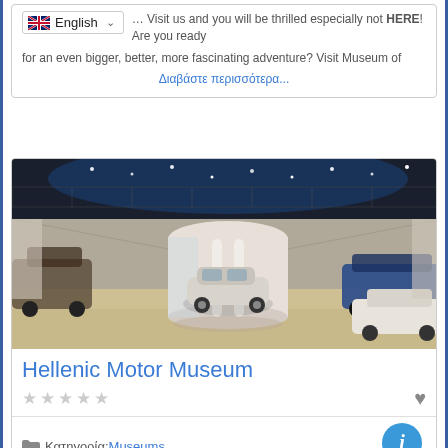... Visit us and you will be thrilled especially not HERE! Are you ready for an even bigger, better, more fascinating adventure? Visit Museum of
Διαβάστε περισσότερα...
[Figure (photo): Interior of the Hellenic Motor Museum showing classic cars on display in a modern architectural space with cylindrical structure and glass ceiling with blue lighting]
Hellenic Motor Museum
★★★★★ (empty stars rating)
Κατηγορία: Museums
Hellenic Motor Museum occupies 4.000 sqm. in a unique building in terms of architecture and design. Its exhibitions are dedicated to the